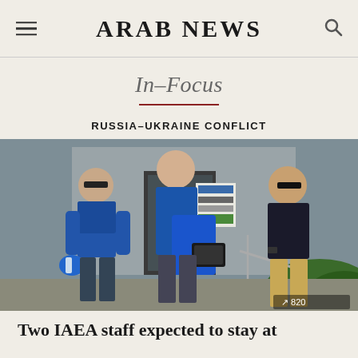ARAB NEWS
In-Focus
RUSSIA-UKRAINE CONFLICT
[Figure (photo): IAEA staff members wearing blue protective vests walking outside a building, one carrying a blue helmet and another carrying equipment cases. A man in dark clothing is visible to the right near metal railings. Greenery visible in background.]
Two IAEA staff expected to stay at